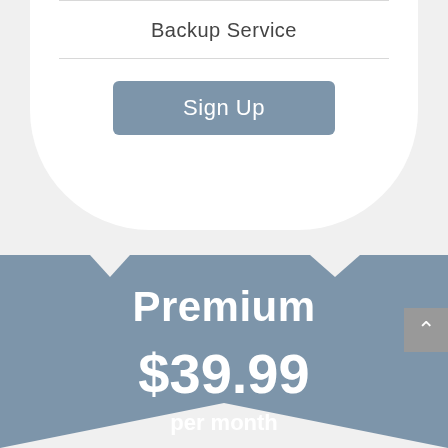Backup Service
Sign Up
Premium
$39.99
per month